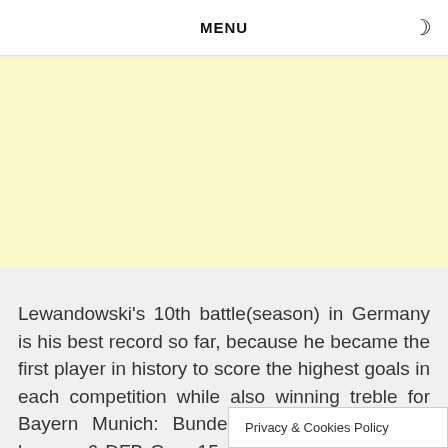MENU
[Figure (other): Light yellow advertisement banner placeholder]
Lewandowski's 10th battle(season) in Germany is his best record so far, because he became the first player in history to score the highest goals in each competition while also winning treble for Bayern Munich: Bundesliga 34 goals in the league, 6 DFB Cup, 15 goals in the Champions League
Privacy & Cookies Policy